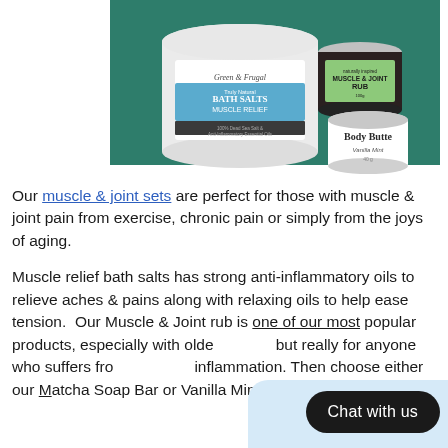[Figure (photo): Product photo showing three Green & Frugal branded jars on a teal background: a large white jar labeled 'Bath Salts Muscle Relief', a dark jar labeled 'Muscle & Joint Rub', and a smaller tin labeled 'Body Butter Vanilla Mint'.]
Our muscle & joint sets are perfect for those with muscle & joint pain from exercise, chronic pain or simply from the joys of aging.
Muscle relief bath salts has strong anti-inflammatory oils to relieve aches & pains along with relaxing oils to help ease tension.  Our Muscle & Joint rub is one of our most popular products, especially with older but really for anyone who suffers from inflammation. Then choose either our Matcha Soap Bar or Vanilla Mint Body Butter to finish off